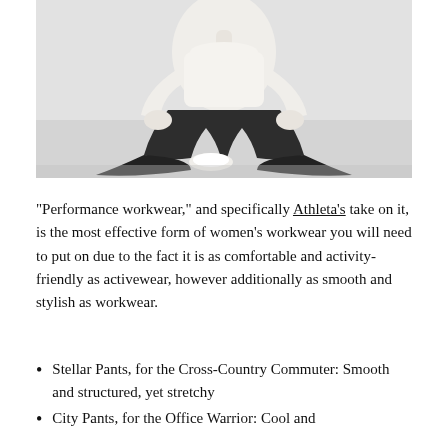[Figure (photo): A woman dressed in a white long-sleeve top and wide-leg dark charcoal/black pants, seated on a white cube or stool, lifting the wide fabric of her pants to display the stretch. Light grey background. Athleisure/workwear product photo.]
“Performance workwear,” and specifically Athleta’s take on it, is the most effective form of women’s workwear you will need to put on due to the fact it is as comfortable and activity-friendly as activewear, however additionally as smooth and stylish as workwear.
Stellar Pants, for the Cross-Country Commuter: Smooth and structured, yet stretchy
City Pants, for the Office Warrior: Cool and